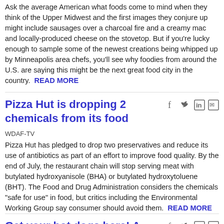Ask the average American what foods come to mind when they think of the Upper Midwest and the first images they conjure up might include sausages over a charcoal fire and a creamy mac and locally-produced cheese on the stovetop. But if you're lucky enough to sample some of the newest creations being whipped up by Minneapolis area chefs, you'll see why foodies from around the U.S. are saying this might be the next great food city in the country.  READ MORE
Pizza Hut is dropping 2 chemicals from its food
WDAF-TV
Pizza Hut has pledged to drop two preservatives and reduce its use of antibiotics as part of an effort to improve food quality. By the end of July, the restaurant chain will stop serving meat with butylated hydroxyanisole (BHA) or butylated hydroxytoluene (BHT). The Food and Drug Administration considers the chemicals "safe for use" in food, but critics including the Environmental Working Group say consumer should avoid them.  READ MORE
Get your hot dogs here! A ballpark tour
The Wall Street Journal